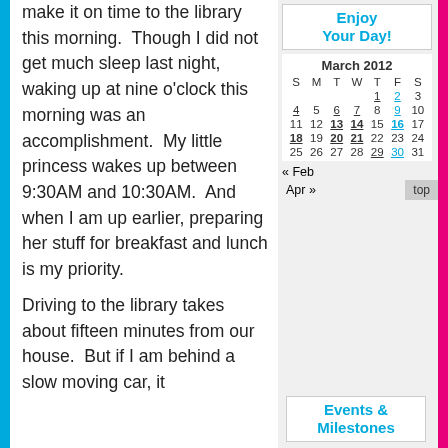make it on time to the library this morning.  Though I did not get much sleep last night, waking up at nine o'clock this morning was an accomplishment.  My little princess wakes up between 9:30AM and 10:30AM.  And when I am up earlier, preparing her stuff for breakfast and lunch is my priority.
Driving to the library takes about fifteen minutes from our house.  But if I am behind a slow moving car, it
Enjoy Your Day!
| S | M | T | W | T | F | S |
| --- | --- | --- | --- | --- | --- | --- |
|  |  |  |  | 1 | 2 | 3 |
| 4 | 5 | 6 | 7 | 8 | 9 | 10 |
| 11 | 12 | 13 | 14 | 15 | 16 | 17 |
| 18 | 19 | 20 | 21 | 22 | 23 | 24 |
| 25 | 26 | 27 | 28 | 29 | 30 | 31 |
« Feb
Apr »
Events & Milestones